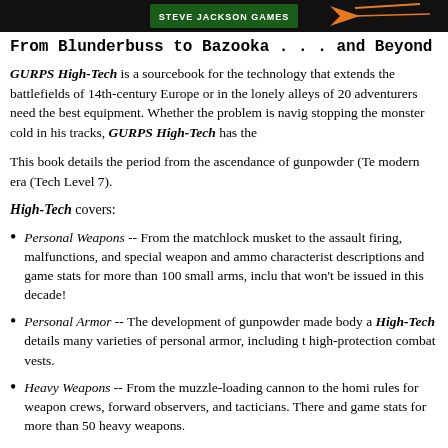[Figure (illustration): Dark banner/header with Steve Jackson Games logo text on green background with orange lightning bolt graphic]
From Blunderbuss to Bazooka . . . and Beyond
GURPS High-Tech is a sourcebook for the technology that extends the battlefields of 14th-century Europe or in the lonely alleys of 20 adventurers need the best equipment. Whether the problem is navig stopping the monster cold in his tracks, GURPS High-Tech has the
This book details the period from the ascendance of gunpowder (Te modern era (Tech Level 7).
High-Tech covers:
Personal Weapons -- From the matchlock musket to the assault firing, malfunctions, and special weapon and ammo characterist descriptions and game stats for more than 100 small arms, inclu that won't be issued in this decade!
Personal Armor -- The development of gunpowder made body a High-Tech details many varieties of personal armor, including t high-protection combat vests.
Heavy Weapons -- From the muzzle-loading cannon to the homi rules for weapon crews, forward observers, and tacticians. There and game stats for more than 50 heavy weapons.